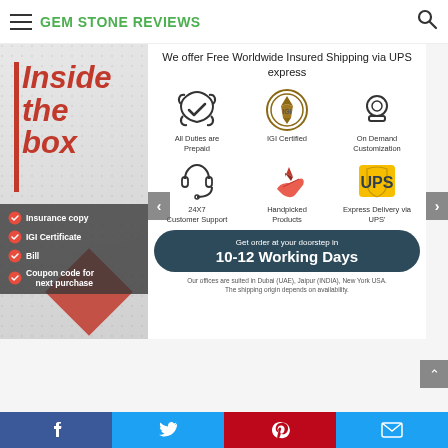GEM STONE REVIEWS
We offer Free Worldwide Insured Shipping via UPS express
[Figure (infographic): Inside the box panel with red vertical bar and bold italic red text reading 'Inside the box' on grey background with diagonal dot pattern]
Insurance copy
IGI Certificate
Bill
Coupon code for next purchase
[Figure (infographic): Six feature icons: All Duties are Prepaid (star-check icon), IGI Certified (gemology seal), On Demand Customization (ring icon), 24X7 Customer Support (headset icon), Handpicked Products (gem on hand icon), Express Delivery via UPS (UPS logo)]
Get order at your doorstep in 10-12 Working Days
Our offices are suited in Dubai (UAE), Jaipur (INDIA), New York USA. The shipping origin depends on availability.
Facebook | Twitter | Pinterest | Email